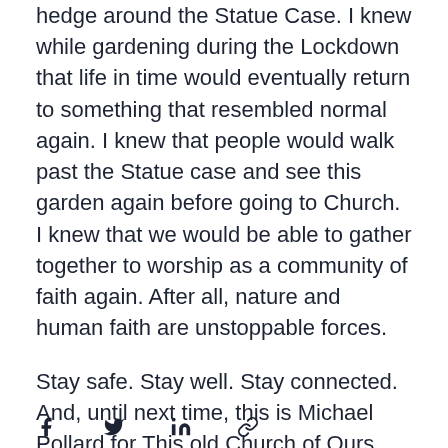hedge around the Statue Case. I knew while gardening during the Lockdown that life in time would eventually return to something that resembled normal again. I knew that people would walk past the Statue case and see this garden again before going to Church. I knew that we would be able to gather together to worship as a community of faith again. After all, nature and human faith are unstoppable forces.

Stay safe. Stay well. Stay connected. And, until next time, this is Michael Pollard for This old Church of Ours.
[Figure (infographic): Social sharing icons: Facebook (f), Twitter (bird), LinkedIn (in), and a link/chain icon]